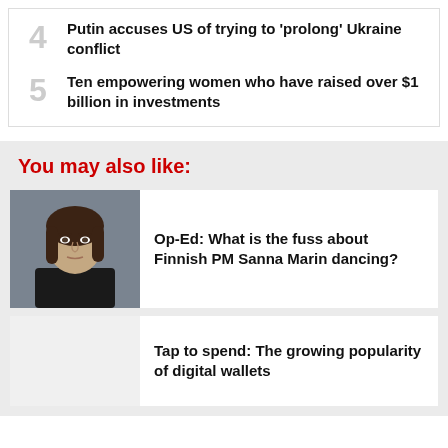4 Putin accuses US of trying to 'prolong' Ukraine conflict
5 Ten empowering women who have raised over $1 billion in investments
You may also like:
[Figure (photo): Portrait photo of Sanna Marin, Finnish Prime Minister, wearing a black turtleneck, looking upward against a grey background.]
Op-Ed: What is the fuss about Finnish PM Sanna Marin dancing?
Tap to spend: The growing popularity of digital wallets